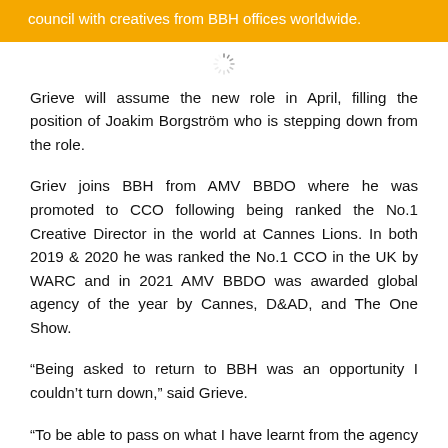council with creatives from BBH offices worldwide.
[Figure (other): Loading spinner icon]
Grieve will assume the new role in April, filling the position of Joakim Borgström who is stepping down from the role.
Griev joins BBH from AMV BBDO where he was promoted to CCO following being ranked the No.1 Creative Director in the world at Cannes Lions. In both 2019 & 2020 he was ranked the No.1 CCO in the UK by WARC and in 2021 AMV BBDO was awarded global agency of the year by Cannes, D&AD, and The One Show.
“Being asked to return to BBH was an opportunity I couldn’t turn down,” said Grieve.
“To be able to pass on what I have learnt from the agency that taught me my craft is interesting. To work with talented and kind people is interesting. To be entrusted with a creative jewel